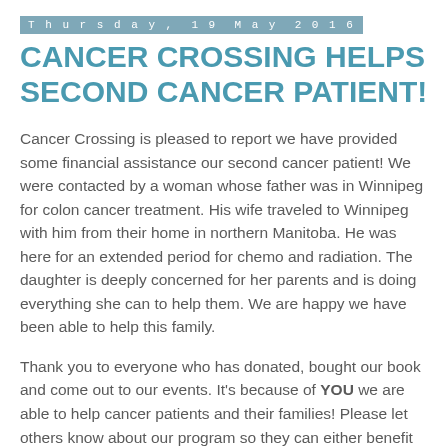Thursday, 19 May 2016
CANCER CROSSING HELPS SECOND CANCER PATIENT!
Cancer Crossing is pleased to report we have provided some financial assistance our second cancer patient! We were contacted by a woman whose father was in Winnipeg for colon cancer treatment. His wife traveled to Winnipeg with him from their home in northern Manitoba. He was here for an extended period for chemo and radiation. The daughter is deeply concerned for her parents and is doing everything she can to help them. We are happy we have been able to help this family.
Thank you to everyone who has donated, bought our book and come out to our events. It's because of YOU we are able to help cancer patients and their families! Please let others know about our program so they can either benefit from our financial aid or help continue to build up our cancer patient financial assistance fund!